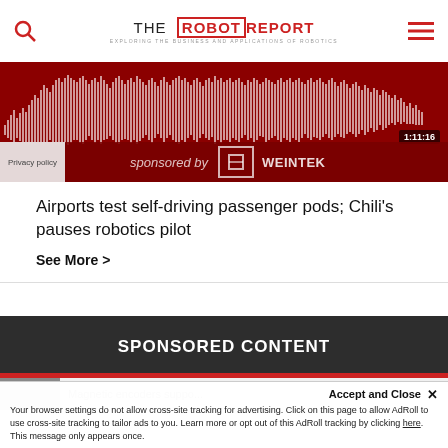THE ROBOT REPORT — EXPLORING THE BUSINESS AND APPLICATIONS OF ROBOTICS
[Figure (other): Audio podcast player with waveform visualization on dark red background, showing timestamp 1:11:16. Overlaid text 'sponsored by' with a logo partially visible. Privacy policy badge in bottom left corner.]
Airports test self-driving passenger pods; Chili's pauses robotics pilot
See More >
SPONSORED CONTENT
Magnetic encoders suppo...
Accept and Close ✕
Your browser settings do not allow cross-site tracking for advertising. Click on this page to allow AdRoll to use cross-site tracking to tailor ads to you. Learn more or opt out of this AdRoll tracking by clicking here. This message only appears once.